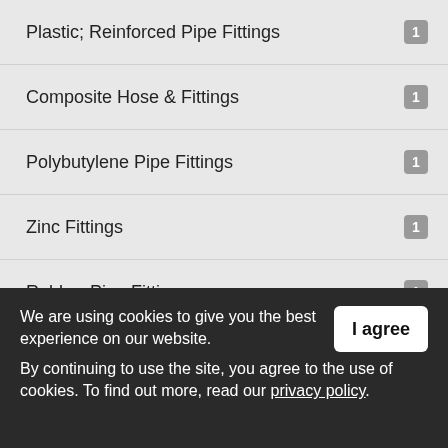Plastic; Reinforced Pipe Fittings — 1
Composite Hose & Fittings — 1
Polybutylene Pipe Fittings — 1
Zinc Fittings — 1
Rubber Pipe Fittings — 1
Heating Ducts & Fittings — 1
Tubing; Hose & Fittings Lubrication — 1
Conveyor Cable and Fittings — 1
Steel & Alloy Pipe Fittings — 1
We are using cookies to give you the best experience on our website.
By continuing to use the site, you agree to the use of cookies. To find out more, read our privacy policy.